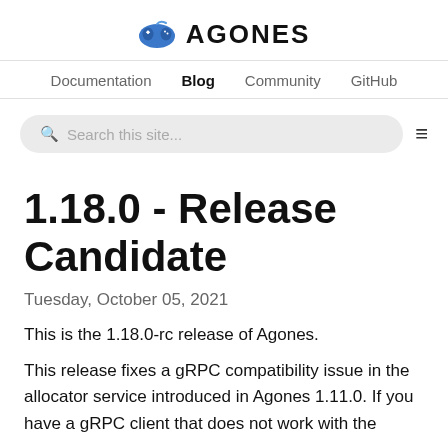AGONES
Documentation  Blog  Community  GitHub
Search this site...
1.18.0 - Release Candidate
Tuesday, October 05, 2021
This is the 1.18.0-rc release of Agones.
This release fixes a gRPC compatibility issue in the allocator service introduced in Agones 1.11.0. If you have a gRPC client that does not work with the